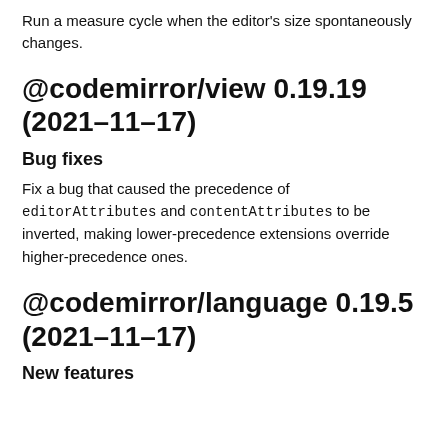Run a measure cycle when the editor's size spontaneously changes.
@codemirror/view 0.19.19 (2021-11-17)
Bug fixes
Fix a bug that caused the precedence of editorAttributes and contentAttributes to be inverted, making lower-precedence extensions override higher-precedence ones.
@codemirror/language 0.19.5 (2021-11-17)
New features